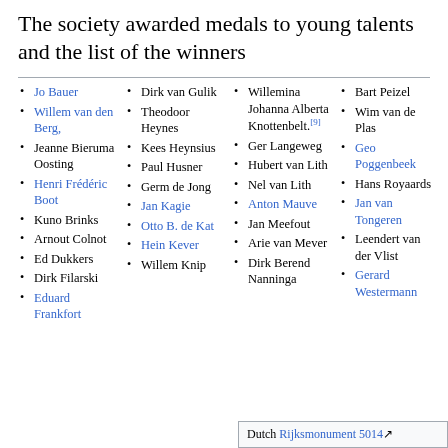The society awarded medals to young talents and the list of the winners
Jo Bauer
Willem van den Berg,
Jeanne Bieruma Oosting
Henri Frédéric Boot
Kuno Brinks
Arnout Colnot
Ed Dukkers
Dirk Filarski
Eduard Frankfort
Dirk van Gulik
Theodoor Heynes
Kees Heynsius
Paul Husner
Germ de Jong
Jan Kagie
Otto B. de Kat
Hein Kever
Willem Knip
Willemina Johanna Alberta Knottenbelt.[9]
Ger Langeweg
Hubert van Lith
Nel van Lith
Anton Mauve
Jan Meefout
Arie van Mever
Dirk Berend Nanninga
Bart Peizel
Wim van de Plas
Geo Poggenbeek
Hans Royaards
Jan van Tongeren
Leendert van der Vlist
Gerard Westermann
Dutch Rijksmonument 5014